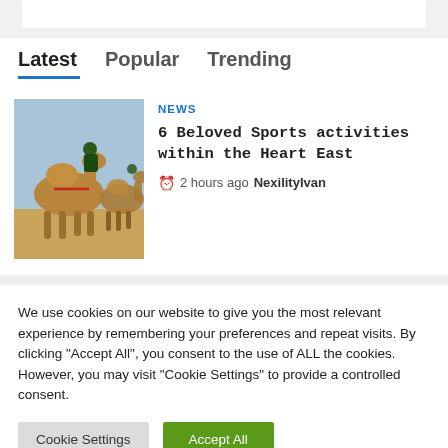[Figure (other): Partial white card at top of page]
Latest  Popular  Trending
[Figure (photo): Camel racing photo showing riders on camels in desert]
NEWS
6 Beloved Sports activities within the Heart East
2 hours ago  NexilityIvan
We use cookies on our website to give you the most relevant experience by remembering your preferences and repeat visits. By clicking "Accept All", you consent to the use of ALL the cookies. However, you may visit "Cookie Settings" to provide a controlled consent.